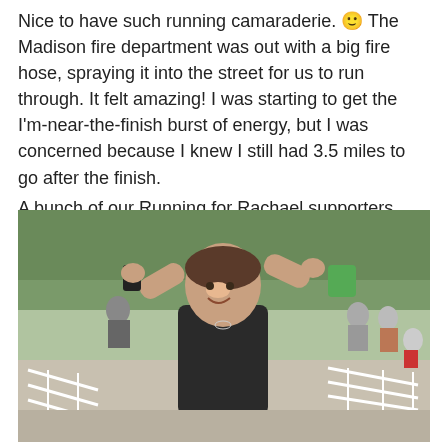Nice to have such running camaraderie. 🙂 The Madison fire department was out with a big fire hose, spraying it into the street for us to run through. It felt amazing! I was starting to get the I'm-near-the-finish burst of energy, but I was concerned because I knew I still had 3.5 miles to go after the finish.
A bunch of our Running for Rachael supporters were near the finish- this is what a happy runner looks like.
[Figure (photo): A smiling woman runner with arms raised holding objects in each hand, wearing a black tank top, at what appears to be a race finish area with white barriers and spectators in the background.]